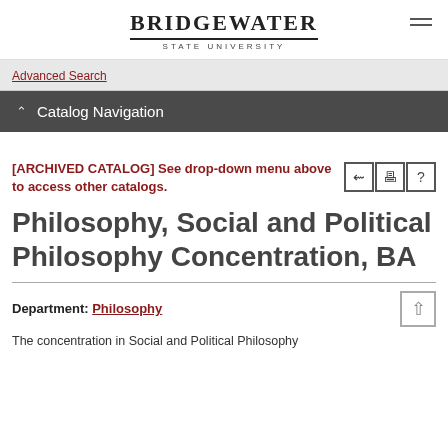BRIDGEWATER STATE UNIVERSITY
Advanced Search
Catalog Navigation
[ARCHIVED CATALOG] See drop-down menu above to access other catalogs.
Philosophy, Social and Political Philosophy Concentration, BA
Department: Philosophy
The concentration in Social and Political Philosophy